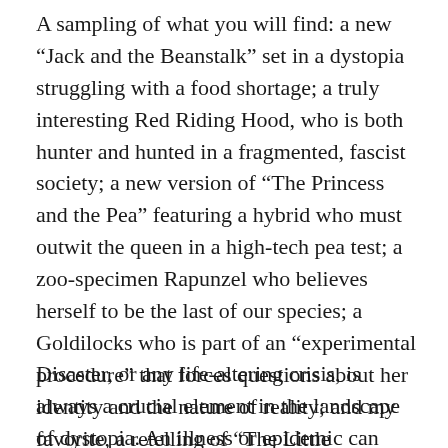A sampling of what you will find: a new “Jack and the Beanstalk” set in a dystopia struggling with a food shortage; a truly interesting Red Riding Hood, who is both hunter and hunted in a fragmented, fascist society; a new version of “The Princess and the Pea” featuring a hybrid who must outwit the queen in a high-tech pea test; a zoo-specimen Rapunzel who believes herself to be the last of our species; a Goldilocks who is part of an “experimental procedure” that forces questions about her identity and the nature of reality; and my favorite, a retelling of “The Little Mermaid” stars a male cyborg in a beautifully rendered seaside setting.
Disaster, or any life-altering crisis, is always a crucial element in the landscape of dystopia. An illness or epidemic can serve as an equalizer in the